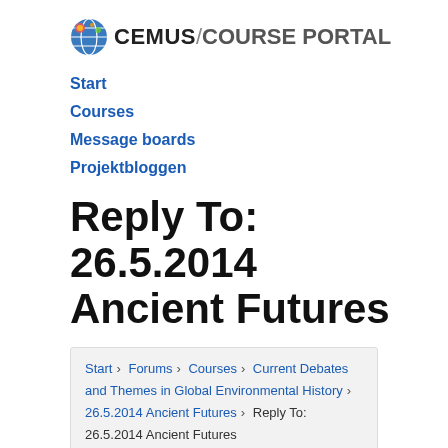[Figure (logo): CEMUS / COURSE PORTAL logo with globe icon]
Start
Courses
Message boards
Projektbloggen
Reply To: 26.5.2014 Ancient Futures
Start › Forums › Courses › Current Debates and Themes in Global Environmental History › 26.5.2014 Ancient Futures › Reply To: 26.5.2014 Ancient Futures
| Author | Replies |
| --- | --- |